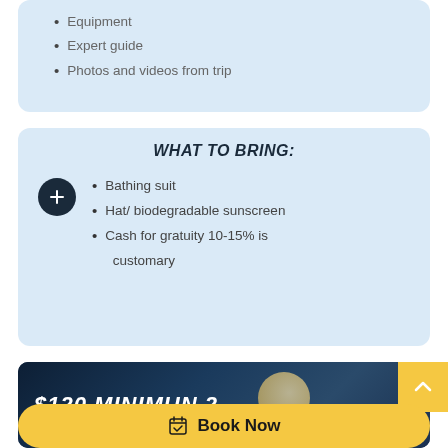Equipment
Expert guide
Photos and videos from trip
What to bring:
Bathing suit
Hat/ biodegradable sunscreen
Cash for gratuity 10-15% is customary
[Figure (photo): Night snorkeling promotional photo with text '$120 MINIMUN 2' and a Book now button overlay]
Book Now